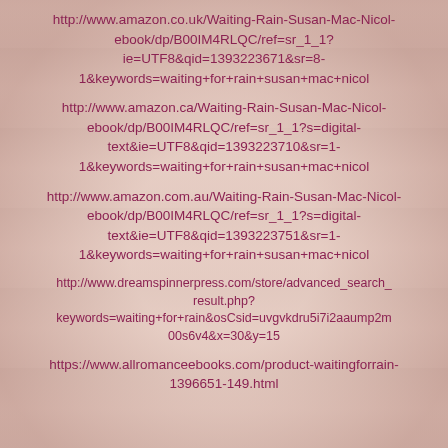http://www.amazon.co.uk/Waiting-Rain-Susan-Mac-Nicol-ebook/dp/B00IM4RLQC/ref=sr_1_1?ie=UTF8&qid=1393223671&sr=8-1&keywords=waiting+for+rain+susan+mac+nicol
http://www.amazon.ca/Waiting-Rain-Susan-Mac-Nicol-ebook/dp/B00IM4RLQC/ref=sr_1_1?s=digital-text&ie=UTF8&qid=1393223710&sr=1-1&keywords=waiting+for+rain+susan+mac+nicol
http://www.amazon.com.au/Waiting-Rain-Susan-Mac-Nicol-ebook/dp/B00IM4RLQC/ref=sr_1_1?s=digital-text&ie=UTF8&qid=1393223751&sr=1-1&keywords=waiting+for+rain+susan+mac+nicol
http://www.dreamspinnerpress.com/store/advanced_search_result.php?keywords=waiting+for+rain&osCsid=uvgvkdru5i7i2aaump2m00s6v4&x=30&y=15
https://www.allromanceebooks.com/product-waitingforrain-1396651-149.html